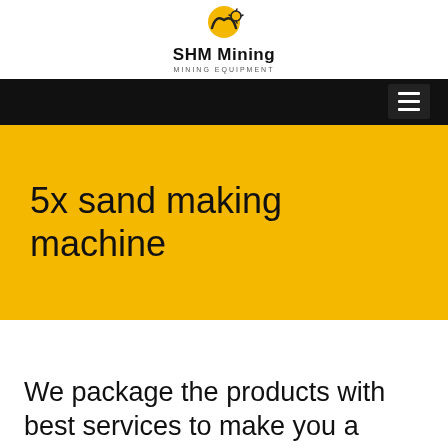[Figure (logo): SHM Mining logo with yellow circular icon and text 'SHM Mining' and 'MINING EQUIPMENT']
[Figure (other): Black navigation bar with hamburger menu icon on the right]
5x sand making machine
We package the products with best services to make you a happy customer.